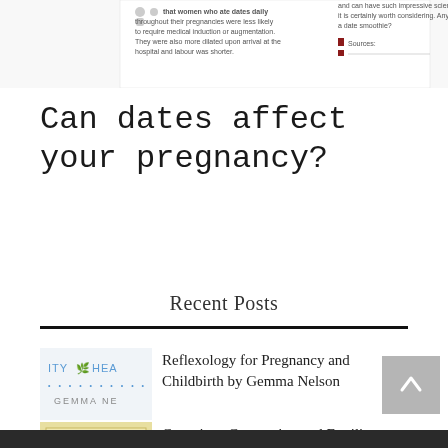[Figure (screenshot): Partial screenshot of an article about women eating dates during pregnancy, with text about medical induction, dilation, and labour, plus a 'Sources' label with a small red icon.]
Can dates affect your pregnancy?
Recent Posts
[Figure (screenshot): Thumbnail image for reflexology post showing 'ITY HEA / GEMMA NE' partial logo text with dots, representing a health brand.]
Reflexology for Pregnancy and Childbirth by Gemma Nelson
[Figure (screenshot): Thumbnail image for conscious conception post showing a yellowed/beige document or book cover with text 'Conscious Conception'.]
Conscious Conception and Fertility Awareness